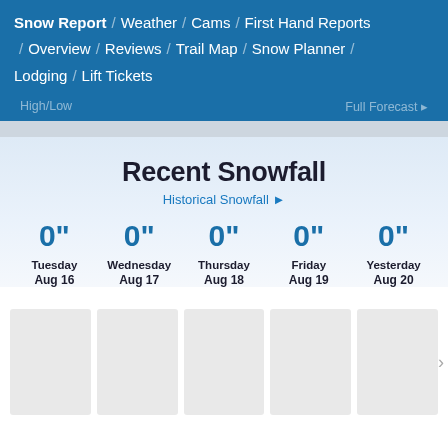Snow Report / Weather / Cams / First Hand Reports / Overview / Reviews / Trail Map / Snow Planner / Lodging / Lift Tickets
Recent Snowfall
Historical Snowfall ▸
0" Tuesday Aug 16
0" Wednesday Aug 17
0" Thursday Aug 18
0" Friday Aug 19
0" Yesterday Aug 20
[Figure (photo): Five thumbnail image placeholders in a horizontal strip with a right arrow]